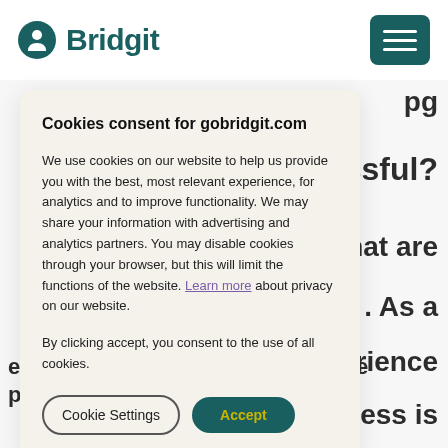Bridgit
Cookies consent for gobridgit.com
We use cookies on our website to help us provide you with the best, most relevant experience, for analytics and to improve functionality. We may share your information with advertising and analytics partners. You may disable cookies through your browser, but this will limit the functions of the website. Learn more about privacy on our website.
By clicking accept, you consent to the use of all cookies.
Cookie Settings   Accept